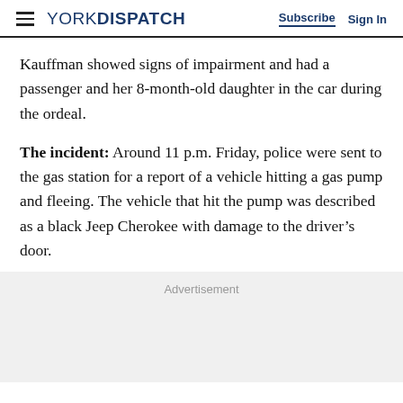YORK DISPATCH | Subscribe | Sign In
Kauffman showed signs of impairment and had a passenger and her 8-month-old daughter in the car during the ordeal.
The incident: Around 11 p.m. Friday, police were sent to the gas station for a report of a vehicle hitting a gas pump and fleeing. The vehicle that hit the pump was described as a black Jeep Cherokee with damage to the driver’s door.
Advertisement